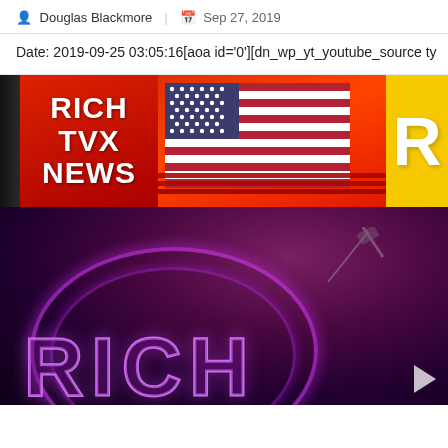Douglas Blackmore | Sep 27, 2019
Date: 2019-09-25 03:05:16[aoa id='0'][dn_wp_yt_youtube_source ty
[Figure (screenshot): Screenshot of Rich TVX News broadcast with logo showing 'RICH TVX NEWS' in white bold text on red background, an American flag, a yellow 'R' logo on the right, and neon-styled 'RICH' text at the bottom on a dark purple/magenta background.]